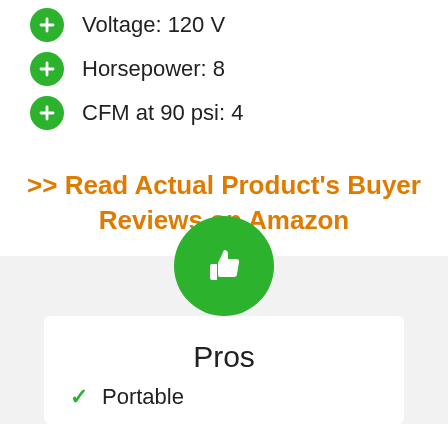Voltage: 120 V
Horsepower: 8
CFM at 90 psi: 4
>> Read Actual Product's Buyer Reviews on Amazon
[Figure (illustration): Green circle with white thumbs-up icon above a Pros card]
Pros
Portable